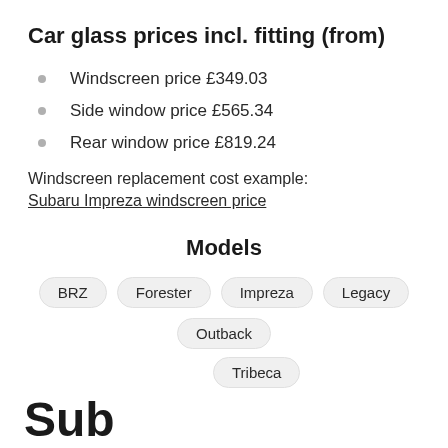Car glass prices incl. fitting (from)
Windscreen price £349.03
Side window price £565.34
Rear window price £819.24
Windscreen replacement cost example:
Subaru Impreza windscreen price
Models
BRZ  Forester  Impreza  Legacy  Outback  Tribeca
Sub...